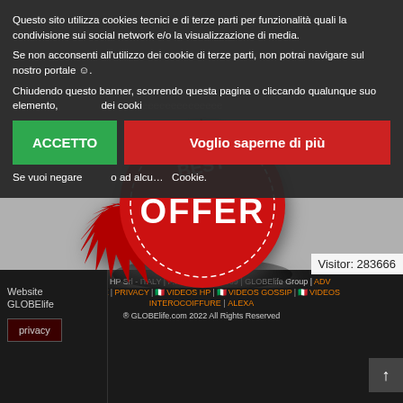[Figure (illustration): Red starburst/badge with text 'OFFER' in white bold letters on a gray background]
Questo sito utilizza cookies tecnici e di terze parti per funzionalità quali la condivisione sui social network e/o la visualizzazione di media.
Se non acconsenti all'utilizzo dei cookie di terze parti, non potrai navigare sul nostro portale ☺.
Chiudendo questo banner, scorrendo questa pagina o cliccando qualunque suo elemento, acconsenti all'uso dei cookie.
Se vuoi negare il consenso ad alcu...  Cookie.
ACCETTO
Voglio saperne di più
Visitor: 283666
EDIZIONI HP Srl - ITALY | P.IVA 09161130969 | GLOBElife Group | ADV
ADVERTISE | PRIVACY | 🇮🇹 VIDEOS HP | 🇮🇹 VIDEOS GOSSIP | 🇮🇹 VIDEOS INTEROCOIFFURE | ALEXA
® GLOBElife.com 2022 All Rights Reserved
Website
GLOBElife
privacy